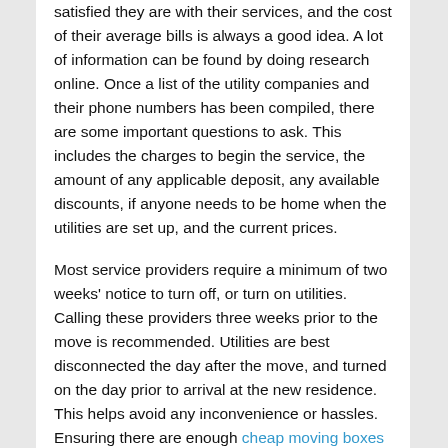satisfied they are with their services, and the cost of their average bills is always a good idea. A lot of information can be found by doing research online. Once a list of the utility companies and their phone numbers has been compiled, there are some important questions to ask. This includes the charges to begin the service, the amount of any applicable deposit, any available discounts, if anyone needs to be home when the utilities are set up, and the current prices.
Most service providers require a minimum of two weeks' notice to turn off, or turn on utilities. Calling these providers three weeks prior to the move is recommended. Utilities are best disconnected the day after the move, and turned on the day prior to arrival at the new residence. This helps avoid any inconvenience or hassles. Ensuring there are enough cheap moving boxes available will also be beneficial. Non-essential services such as television services can wait a couple days. Some utility services can be connected online, while others require a trip to the company office. This requires proof of identity and